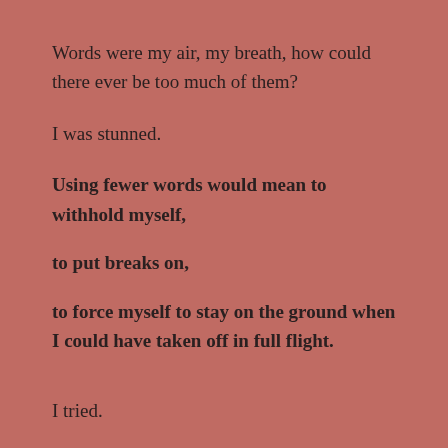Words were my air, my breath, how could there ever be too much of them?
I was stunned.
Using fewer words would mean to withhold myself, to put breaks on, to force myself to stay on the ground when I could have taken off in full flight.
I tried.
For a while, I tried to fit in.
I was told that I was too cheerful, too trusting too friendly to strangers.